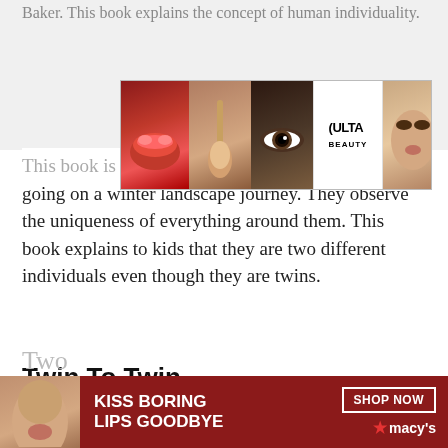Baker. This book explains the concept of human individuality.
[Figure (photo): Ulta Beauty advertisement banner showing makeup images: red lips, makeup brush, eye with dark makeup, Ulta logo, model face, and SHOP NOW box]
This book is the story of two birds looking alike and going on a winter landscape journey. They observe the uniqueness of everything around them. This book explains to kids that they are two different individuals even though they are twins.
Twin To Twin
In the book Twin To Twin, the author introduces the humorous side of life with twins. She explains how everything is double when they are together. It is twice the fun, but also twice the mess.
[Figure (photo): Macy's advertisement banner with dark red background showing 'KISS BORING LIPS GOODBYE' text, woman's face, SHOP NOW button, and Macy's logo with red star]
Two